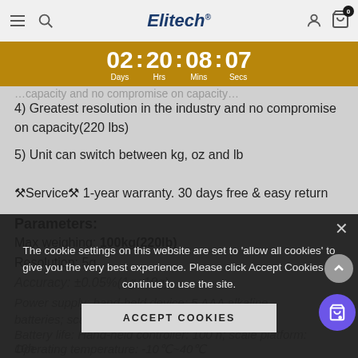Elitech navigation bar with menu, search, logo, user and cart icons
[Figure (other): Countdown timer bar showing 02:20:08:07 Days Hrs Mins Secs on gold/amber background]
4) Greatest resolution in the industry and no compromise on capacity(220 lbs)
5) Unit can switch between kg, oz and lb
🔧Service🔧 1-year warranty. 30 days free & easy return
Parameters:
Max weighing: 100kg(220lb)
Resolution: 5g
Accuracy: ±0.05%(1g+10g)
Power supply: hand-held device: 5 AAA alkaline batteries; scale platform: 6 alkaline batteries
Battery life: Hand-held controller: 100 h; scale platform: 10h
Operating temperature: -10℃~40℃
Cookie consent overlay: The cookie settings on this website are set to 'allow all cookies' to give you the very best experience. Please click Accept Cookies to continue to use the site.